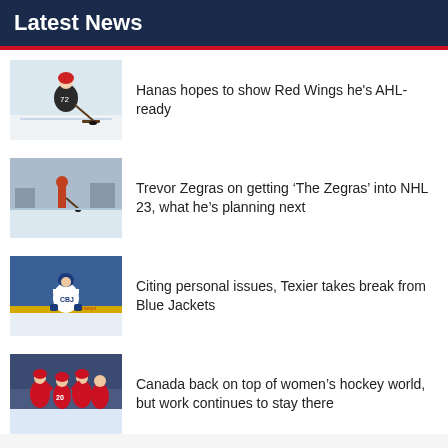Latest News
[Figure (photo): Hockey player skating with a puck on ice rink]
Hanas hopes to show Red Wings he's AHL-ready
[Figure (photo): Person playing hockey on an outdoor rink in winter]
Trevor Zegras on getting ‘The Zegras’ into NHL 23, what he’s planning next
[Figure (photo): Columbus Blue Jackets player standing on ice in uniform]
Citing personal issues, Texier takes break from Blue Jackets
[Figure (photo): Canada women's hockey team celebrating in red uniforms]
Canada back on top of women’s hockey world, but work continues to stay there